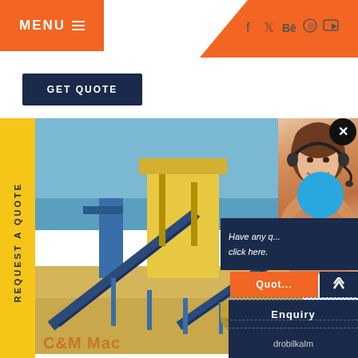MENU
[Figure (screenshot): Website screenshot showing industrial mining equipment website with orange and navy blue branding. Menu button top left, social media icons top right, GET QUOTE button, yellow vertical REQUEST A QUOTE sidebar, industrial conveyor belt facility photo, contact person with headset, Have any question click here panel, Quote button, Enquiry and drobilkalm navigation items.]
GET QUOTE
REQUEST A QUOTE
Have any [question] click here.
Quote
Enquiry
drobilkalm
C&M Mac